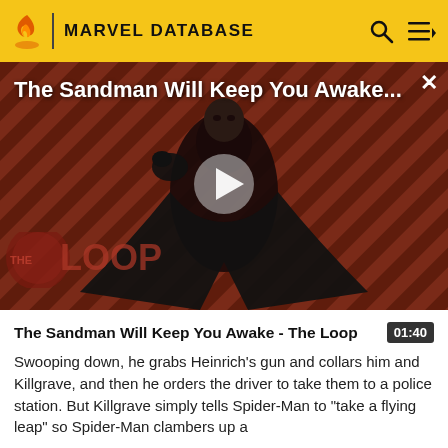MARVEL DATABASE
[Figure (screenshot): Video thumbnail showing a dark-costumed figure (The Sandman) against a diagonal striped red and black background with 'THE LOOP' watermark and a play button overlay. Title text reads 'The Sandman Will Keep You Awake...' with a close (X) button.]
The Sandman Will Keep You Awake - The Loop
Swooping down, he grabs Heinrich's gun and collars him and Killgrave, and then he orders the driver to take them to a police station. But Killgrave simply tells Spider-Man to "take a flying leap" so Spider-Man clambers up a